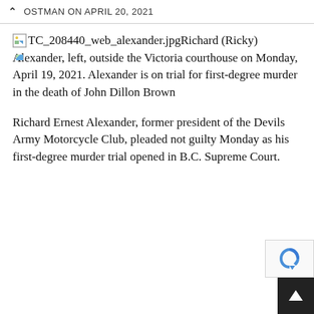OSTMAN ON APRIL 20, 2021
TC_208440_web_alexander.jpgRichard (Ricky) Alexander, left, outside the Victoria courthouse on Monday, April 19, 2021. Alexander is on trial for first-degree murder in the death of John Dillon Brown
Richard Ernest Alexander, former president of the Devils Army Motorcycle Club, pleaded not guilty Monday as his first-degree murder trial opened in B.C. Supreme Court.